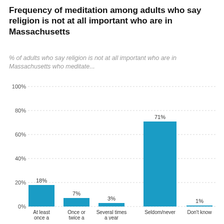Frequency of meditation among adults who say religion is not at all important who are in Massachusetts
% of adults who say religion is not at all important who are in Massachusetts who meditate...
[Figure (bar-chart): Frequency of meditation among adults who say religion is not at all important who are in Massachusetts]